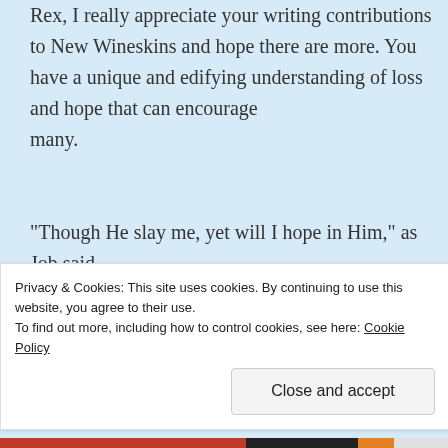Rex, I really appreciate your writing contributions to New Wineskins and hope there are more. You have a unique and edifying understanding of loss and hope that can encourage many.
“Though He slay me, yet will I hope in Him,” as Job said.
👍 0 👎 0 ⓘ Rate This
REPLY
Privacy & Cookies: This site uses cookies. By continuing to use this website, you agree to their use.
To find out more, including how to control cookies, see here: Cookie Policy
Close and accept